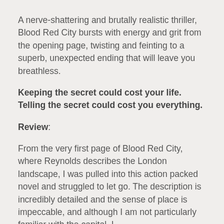A nerve-shattering and brutally realistic thriller, Blood Red City bursts with energy and grit from the opening page, twisting and feinting to a superb, unexpected ending that will leave you breathless.
Keeping the secret could cost your life. Telling the secret could cost you everything.
Review:
From the very first page of Blood Red City, where Reynolds describes the London landscape, I was pulled into this action packed novel and struggled to let go. The description is incredibly detailed and the sense of place is impeccable, and although I am not particularly familiar with the capital, I